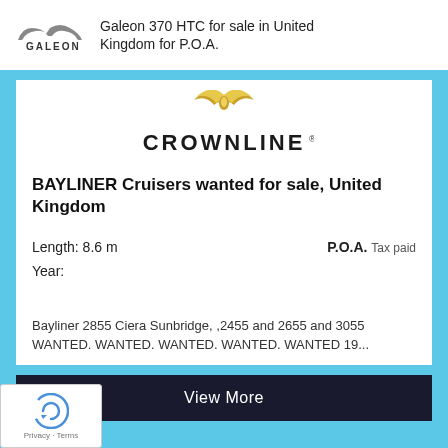Galeon 370 HTC for sale in United Kingdom for P.O.A.
[Figure (logo): Crownline brand logo with gold leaf/wing emblem above the CROWNLINE text]
BAYLINER Cruisers wanted for sale, United Kingdom
Length: 8.6 m   P.O.A.  Tax paid
Year:
Bayliner 2855 Ciera Sunbridge, ,2455 and 2655 and 3055 WANTED. WANTED. WANTED. WANTED. WANTED 19...
View More